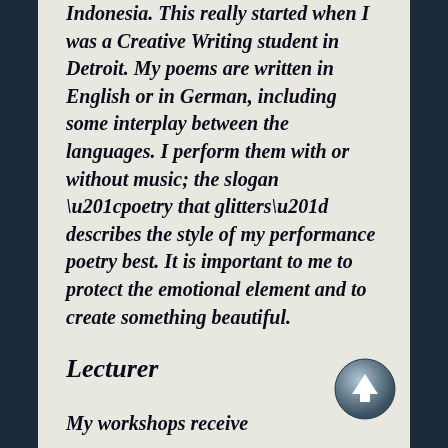Indonesia. This really started when I was a Creative Writing student in Detroit. My poems are written in English or in German, including some interplay between the languages. I perform them with or without music; the slogan “poetry that glitters” describes the style of my performance poetry best. It is important to me to protect the emotional element and to create something beautiful.
Lecturer
My workshops receive